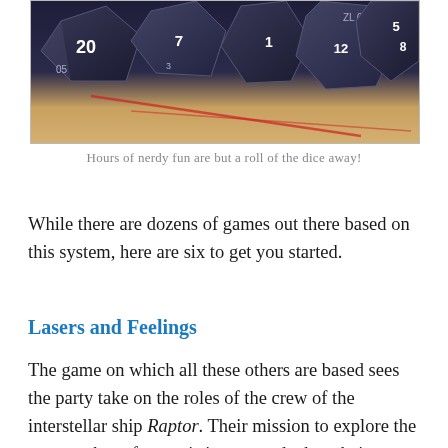[Figure (photo): A collection of dark polyhedral dice (d20, d12, d10, d8 etc.) resting on a surface with a game map or paper visible underneath.]
Hours of nerdy fun are but a roll of the dice away!
While there are dozens of games out there based on this system, here are six to get you started.
Lasers and Feelings
The game on which all these others are based sees the party take on the roles of the crew of the interstellar ship Raptor. Their mission to explore the vast reaches of space is interrupted when their captain is overcome by a strange entity known as Something Else, leaving only the crew to handle what happens next.